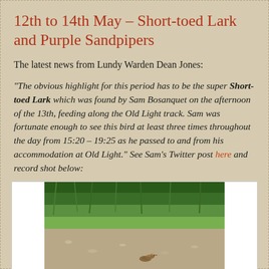12th to 14th May – Short-toed Lark and Purple Sandpipers
The latest news from Lundy Warden Dean Jones:
"The obvious highlight for this period has to be the super Short-toed Lark which was found by Sam Bosanquet on the afternoon of the 13th, feeding along the Old Light track. Sam was fortunate enough to see this bird at least three times throughout the day from 15:20 – 19:25 as he passed to and from his accommodation at Old Light." See Sam's Twitter post here and record shot below:
[Figure (photo): A bird (Short-toed Lark) on a gravel and grass path/track, with green grass in the background.]